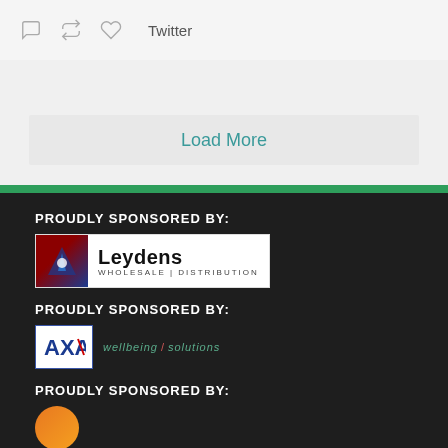[Figure (screenshot): Twitter action bar with reply, retweet, like icons and 'Twitter' label]
Load More
PROUDLY SPONSORED BY:
[Figure (logo): Leydens Wholesale | Distribution logo]
PROUDLY SPONSORED BY:
[Figure (logo): AXA wellbeing/solutions logo]
PROUDLY SPONSORED BY:
[Figure (logo): Partially visible sponsor logo with orange circle]